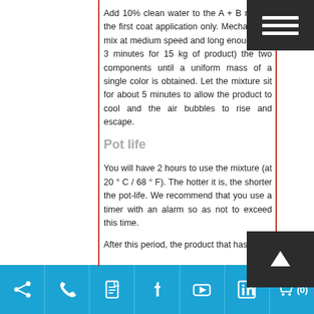Add 10% clean water to the A + B mix for the first coat application only. Mechanically mix at medium speed and long enough (+/- 3 minutes for 15 kg of product) the two components until a uniform mass of a single color is obtained. Let the mixture sit for about 5 minutes to allow the product to cool and the air bubbles to rise and escape.
Pot life
You will have 2 hours to use the mixture (at 20 ° C / 68 ° F). The hotter it is, the shorter the pot-life. We recommend that you use a timer with an alarm so as not to exceed this time.
After this period, the product that has not